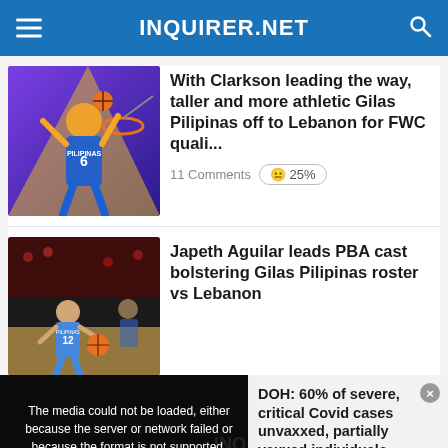INQUIRER.NET
[Figure (photo): Basketball player in blue Gilas Pilipinas jersey dunking, colorful graphic art background]
With Clarkson leading the way, taller and more athletic Gilas Pilipinas off to Lebanon for FWC quali...
11 Comments 😐 25%
[Figure (photo): Basketball player number 12 in Gilas Pilipinas jersey on basketball court]
Japeth Aguilar leads PBA cast bolstering Gilas Pilipinas roster vs Lebanon
[Figure (screenshot): Video player showing media error overlay with text about DOH and Covid cases, overlaid with error message]
The media could not be loaded, either because the server or network failed or because the format is not supported.
DOH: 60% of severe, critical Covid cases unvaxxed, partially vaxxed individuals
DOH: 60% OF SEVERE, CRITICAL COVID CASES UNVAXXED, PARTIALLY VAXXED INDIVIDUALS